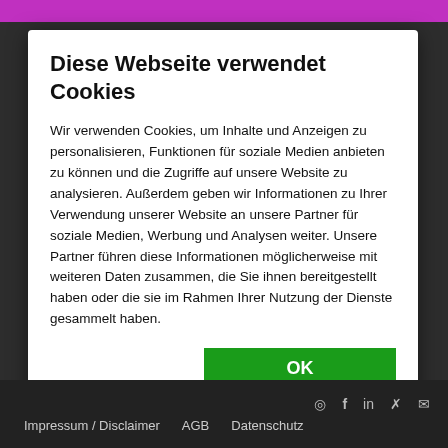Diese Webseite verwendet Cookies
Wir verwenden Cookies, um Inhalte und Anzeigen zu personalisieren, Funktionen für soziale Medien anbieten zu können und die Zugriffe auf unsere Website zu analysieren. Außerdem geben wir Informationen zu Ihrer Verwendung unserer Website an unsere Partner für soziale Medien, Werbung und Analysen weiter. Unsere Partner führen diese Informationen möglicherweise mit weiteren Daten zusammen, die Sie ihnen bereitgestellt haben oder die sie im Rahmen Ihrer Nutzung der Dienste gesammelt haben.
✓ Notwendig  □ Präferenzen  ✓ Statistiken  □ Marketing
Impressum / Disclaimer   AGB   Datenschutz